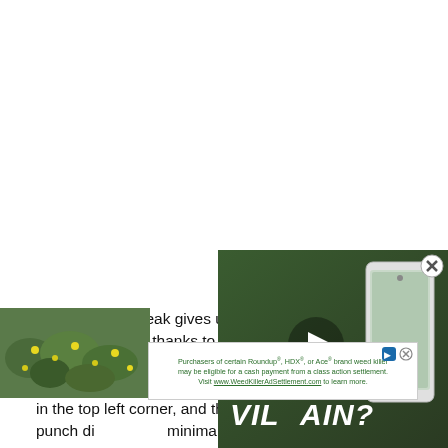Now, the latest leak gives us a closer look at the Moto G Stylus (2021), thanks to a couple of live images. As you can see attached below, the device looks to have a finish on the back panel with gradient color, a rectangular camera island in the top left corner, and the Moto logo, plus a hole-punch display with minimal bezels on three sides and a
[Figure (screenshot): Video overlay panel showing a smartphone with 'VILLAIN?' text overlay, with a play button in the center. A close (X) button is in the top right corner. Green/dark background.]
[Figure (photo): Small thumbnail image in bottom left showing green foliage/plants with yellow flowers.]
Purchasers of certain Roundup®, HDX®, or Ace® brand weed killer may be eligible for a cash payment from a class action settlement. Visit www.WeedKillerAdSettlement.com to learn more.